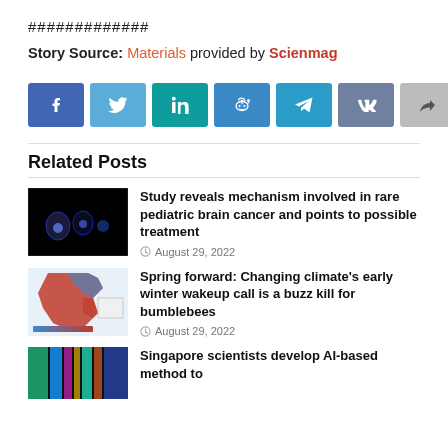#############
Story Source: Materials provided by Scienmag
[Figure (other): Social share buttons: Facebook, Twitter, LinkedIn, Reddit, Telegram, VK, Share]
Related Posts
[Figure (photo): Microscopy image showing blue fluorescent cells on black background]
Study reveals mechanism involved in rare pediatric brain cancer and points to possible treatment
August 29, 2022
[Figure (map): Map of North America showing climate data with red/blue color gradient]
Spring forward: Changing climate’s early winter wakeup call is a buzz kill for bumblebees
August 29, 2022
[Figure (photo): Colorful scientific image with green and blue tones]
Singapore scientists develop AI-based method to